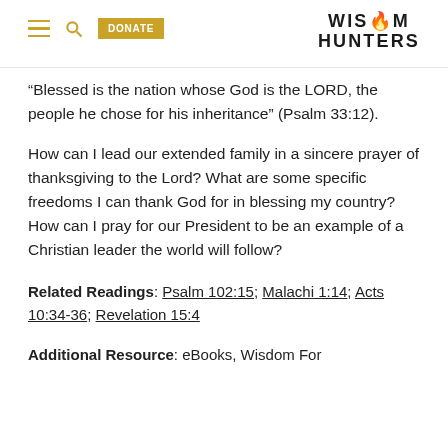WISDOM HUNTERS | DONATE
“Blessed is the nation whose God is the LORD, the people he chose for his inheritance” (Psalm 33:12).
How can I lead our extended family in a sincere prayer of thanksgiving to the Lord? What are some specific freedoms I can thank God for in blessing my country? How can I pray for our President to be an example of a Christian leader the world will follow?
Related Readings: Psalm 102:15; Malachi 1:14; Acts 10:34-36; Revelation 15:4
Additional Resource: eBooks, Wisdom For